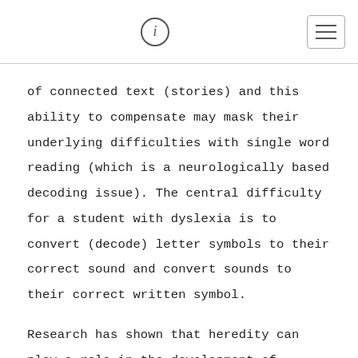i [info icon] [hamburger menu]
of connected text (stories) and this ability to compensate may mask their underlying difficulties with single word reading (which is a neurologically based decoding issue). The central difficulty for a student with dyslexia is to convert (decode) letter symbols to their correct sound and convert sounds to their correct written symbol.
Research has shown that heredity can play a role in the development of dyslexia. When